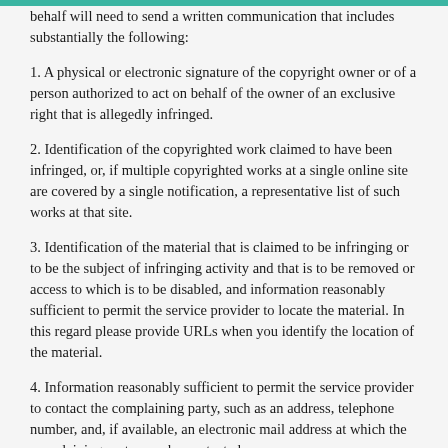behalf will need to send a written communication that includes substantially the following:
1. A physical or electronic signature of the copyright owner or of a person authorized to act on behalf of the owner of an exclusive right that is allegedly infringed.
2. Identification of the copyrighted work claimed to have been infringed, or, if multiple copyrighted works at a single online site are covered by a single notification, a representative list of such works at that site.
3. Identification of the material that is claimed to be infringing or to be the subject of infringing activity and that is to be removed or access to which is to be disabled, and information reasonably sufficient to permit the service provider to locate the material. In this regard please provide URLs when you identify the location of the material.
4. Information reasonably sufficient to permit the service provider to contact the complaining party, such as an address, telephone number, and, if available, an electronic mail address at which the complaining party may be contacted.